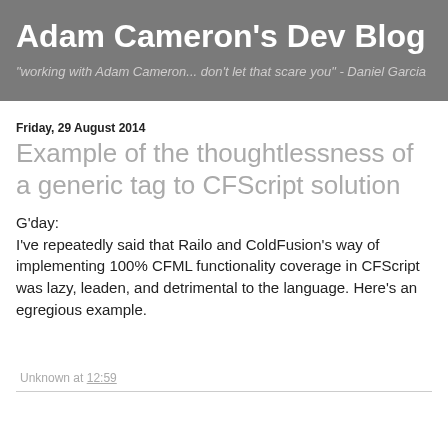Adam Cameron's Dev Blog
"working with Adam Cameron... don't let that scare you" - Daniel Garcia
Friday, 29 August 2014
Example of the thoughtlessness of a generic tag to CFScript solution
G'day:
I've repeatedly said that Railo and ColdFusion's way of implementing 100% CFML functionality coverage in CFScript was lazy, leaden, and detrimental to the language. Here's an egregious example.
Unknown at 12:59